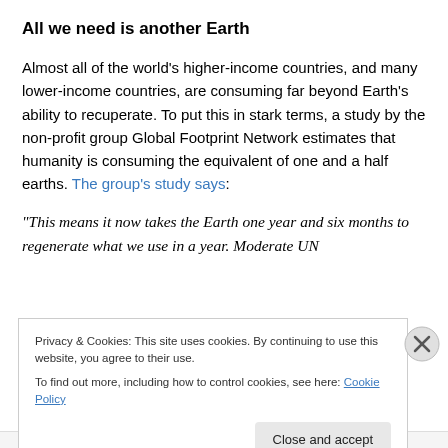All we need is another Earth
Almost all of the world's higher-income countries, and many lower-income countries, are consuming far beyond Earth's ability to recuperate. To put this in stark terms, a study by the non-profit group Global Footprint Network estimates that humanity is consuming the equivalent of one and a half earths. The group's study says:
“This means it now takes the Earth one year and six months to regenerate what we use in a year. Moderate UN
Privacy & Cookies: This site uses cookies. By continuing to use this website, you agree to their use.
To find out more, including how to control cookies, see here: Cookie Policy
CLIMATE THE 42